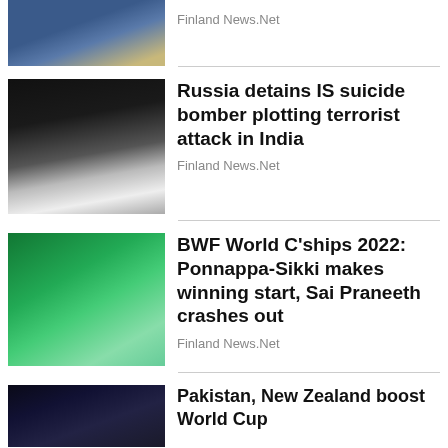[Figure (photo): Man in blue suit with gold tie, hands clasped, partial view at top of page]
Finland News.Net
[Figure (photo): Black and white ISIS flag close-up]
Russia detains IS suicide bomber plotting terrorist attack in India
Finland News.Net
[Figure (photo): Badminton player on green court, INOA branding visible]
BWF World C'ships 2022: Ponnappa-Sikki makes winning start, Sai Praneeth crashes out
Finland News.Net
[Figure (photo): Cricket players celebrating on dark field]
Pakistan, New Zealand boost World Cup